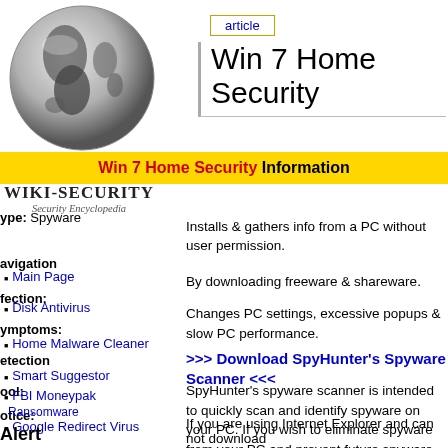[Figure (illustration): Globe/Earth illustration, grayscale, showing Americas]
Win 7 Home Security
Win 7 Home Security Information
[Figure (logo): WIKI-SECURITY Security Encyclopedia logo]
Type: Spyware
Analysis: Installs & gathers info from a PC without user permission.
Main Page
Infection: By downloading freeware & shareware.
Disk Antivirus
Symptoms: Changes PC settings, excessive popups & slow PC performance.
Home Malware Cleaner
Detection
Smart Suggestor
Tool: >>> Download SpyHunter's Spyware Scanner <<<
FBI Moneypak Ransomware
Notice: SpyHunter's spyware scanner is intended to quickly scan and identify spyware on your PC. If you wish to eliminate spyware from your PC and prevent future spyware attacks, we recommend you buy SpyHunter's spyware removal tool, which includes full technical support and a Spyware HelpDesk to tackle spyware that is uniquely affecting your PC.
Google Redirect Virus
MyStart.Incredibar.com
Windows Virtual Firewall
Windows Premium Defender
Windows Web Uniquely
Windows Defence
Alert: If you are using Internet Explorer and can not download